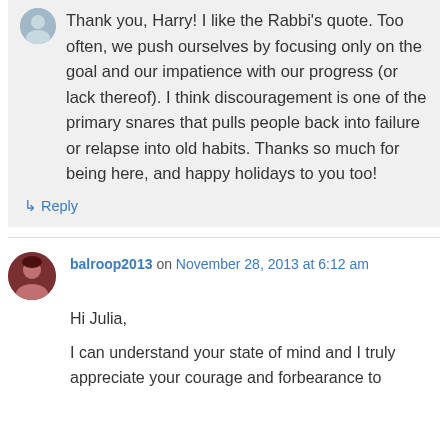Thank you, Harry! I like the Rabbi's quote. Too often, we push ourselves by focusing only on the goal and our impatience with our progress (or lack thereof). I think discouragement is one of the primary snares that pulls people back into failure or relapse into old habits. Thanks so much for being here, and happy holidays to you too!
↳ Reply
balroop2013 on November 28, 2013 at 6:12 am
Hi Julia,
I can understand your state of mind and I truly appreciate your courage and forbearance to